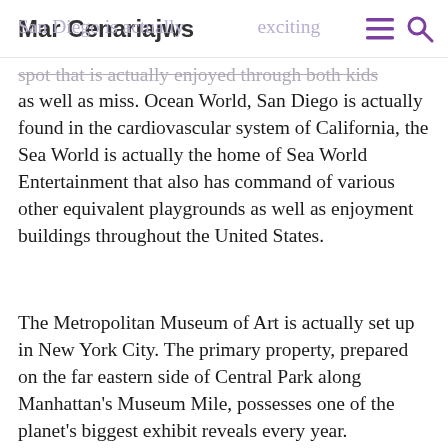Mar Cenariajws
paned to historic craft jobs.
San Diego is actually exciting spot that is actually enjoyed through both kids as well as miss. Ocean World, San Diego is actually found in the cardiovascular system of California, the Sea World is actually the home of Sea World Entertainment that also has command of various other equivalent playgrounds as well as enjoyment buildings throughout the United States.
The Metropolitan Museum of Art is actually set up in New York City. The primary property, prepared on the far eastern side of Central Park along Manhattan's Museum Mile, possesses one of the planet's biggest exhibit reveals every year. The Museum includes Egyptian, European, Roman as well as classical as well as Islamic